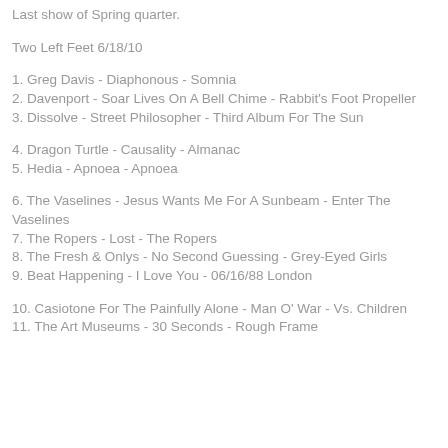Last show of Spring quarter.
Two Left Feet 6/18/10
1. Greg Davis - Diaphonous - Somnia
2. Davenport - Soar Lives On A Bell Chime - Rabbit's Foot Propeller
3. Dissolve - Street Philosopher - Third Album For The Sun
4. Dragon Turtle - Causality - Almanac
5. Hedia - Apnoea - Apnoea
6. The Vaselines - Jesus Wants Me For A Sunbeam - Enter The Vaselines
7. The Ropers - Lost - The Ropers
8. The Fresh & Onlys - No Second Guessing - Grey-Eyed Girls
9. Beat Happening - I Love You - 06/16/88 London
10. Casiotone For The Painfully Alone - Man O' War - Vs. Children
11. The Art Museums - 30 Seconds - Rough Frame